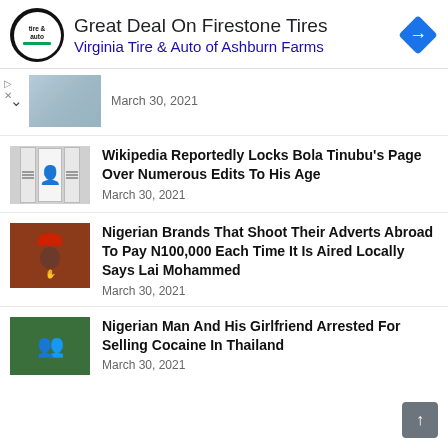[Figure (infographic): Ad banner: circular tire & auto logo, text 'Great Deal On Firestone Tires / Virginia Tire & Auto of Ashburn Farms', blue diamond navigation arrow icon on right]
[Figure (photo): Thumbnail image partially visible with upward caret chevron, showing fabric/denim]
March 30, 2021
[Figure (photo): Thumbnail showing documents and a person in white]
Wikipedia Reportedly Locks Bola Tinubu's Page Over Numerous Edits To His Age
March 30, 2021
[Figure (photo): Thumbnail of a man in red cap sitting]
Nigerian Brands That Shoot Their Adverts Abroad To Pay N100,000 Each Time It Is Aired Locally Says Lai Mohammed
March 30, 2021
[Figure (photo): Thumbnail showing people, outdoor scene]
Nigerian Man And His Girlfriend Arrested For Selling Cocaine In Thailand
March 30, 2021